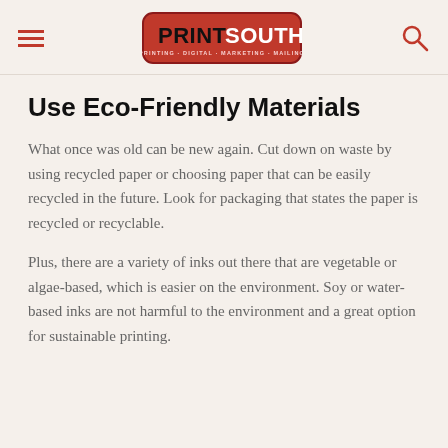PrintSouth — PRINTING · DIGITAL · MARKETING · MAILING
Use Eco-Friendly Materials
What once was old can be new again. Cut down on waste by using recycled paper or choosing paper that can be easily recycled in the future. Look for packaging that states the paper is recycled or recyclable.
Plus, there are a variety of inks out there that are vegetable or algae-based, which is easier on the environment. Soy or water-based inks are not harmful to the environment and a great option for sustainable printing.